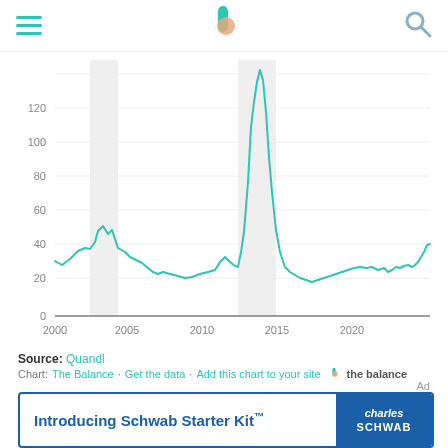The Balance — navigation header with hamburger menu, logo, and search icon
[Figure (continuous-plot): Line chart showing VIX volatility index from 2000 to 2021. Y-axis ranges from 0 to 120+. Notable peaks: ~47 around 2002-2003 (dot-com recession shaded region), and a major spike to ~125 around 2008-2009 (financial crisis shaded region). Values generally 15-30 outside of crises, with a rise to ~38 near 2020-2021.]
Source: Quandl
Chart: The Balance · Get the data · Add this chart to your site    the balance
[Figure (infographic): Advertisement banner: 'Introducing Schwab Starter Kit™' with Charles Schwab logo badge in blue]